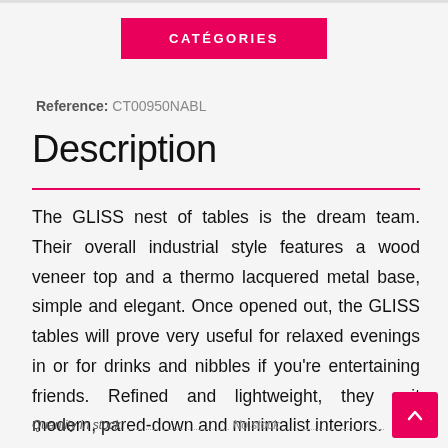CATÉGORIES
Reference: CT00950NABL
Description
The GLISS nest of tables is the dream team. Their overall industrial style features a wood veneer top and a thermo lacquered metal base, simple and elegant. Once opened out, the GLISS tables will prove very useful for relaxed evenings in or for drinks and nibbles if you're entertaining friends. Refined and lightweight, they suit modern, pared-down and minimalist interiors.
Quantity in stock:   No stock